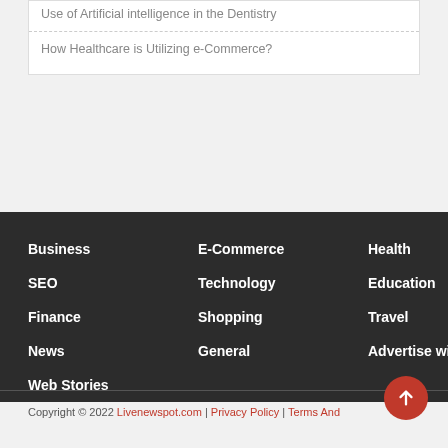Use of Artificial intelligence in the Dentistry
How Healthcare is Utilizing e-Commerce?
Business
E-Commerce
Health
SEO
Technology
Education
Finance
Shopping
Travel
News
General
Advertise with us
Web Stories
Copyright © 2022 Livenewspot.com | Privacy Policy | Terms And